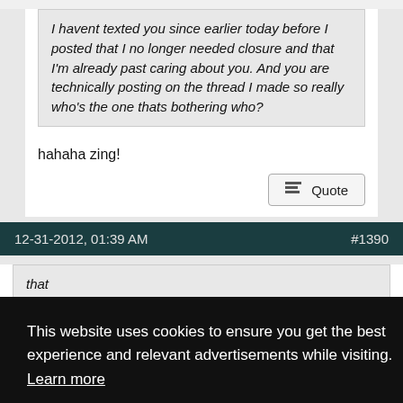I havent texted you since earlier today before I posted that I no longer needed closure and that I'm already past caring about you. And you are technically posting on the thread I made so really who's the one thats bothering who?
hahaha zing!
Quote
12-31-2012, 01:39 AM
#1390
This website uses cookies to ensure you get the best experience and relevant advertisements while visiting.  Learn more
Got it!
that